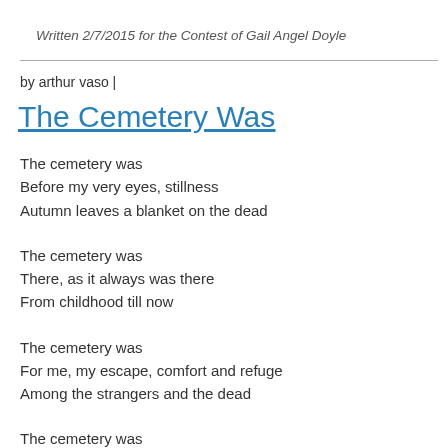Written 2/7/2015 for the Contest of Gail Angel Doyle
by arthur vaso |
The Cemetery Was
The cemetery was
Before my very eyes, stillness
Autumn leaves a blanket on the dead

The cemetery was
There, as it always was there
From childhood till now

The cemetery was
For me, my escape, comfort and refuge
Among the strangers and the dead

The cemetery was
My pathway to the heavens